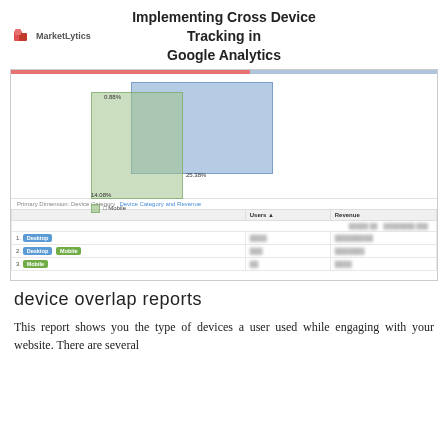MarketLytics
Implementing Cross Device Tracking in Google Analytics
[Figure (screenshot): Google Analytics device overlap report screenshot showing overlapping rectangles (Venn diagram style) for desktop and mobile devices with percentage labels (0.88%, 25.38%, 14.08%), a legend showing 'Mobile', a dimension row for 'Primary Dimension: Device Category / Device Category and Revenue', and a data table with rows for Desktop, Desktop+Mobile, and Mobile devices with blurred Users and Revenue values.]
device overlap reports
This report shows you the type of devices a user used while engaging with your website. There are several